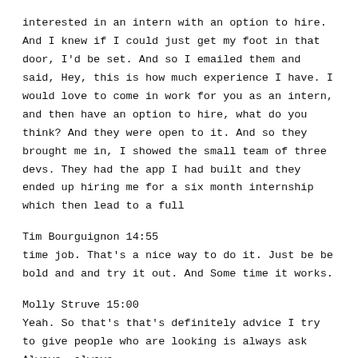interested in an intern with an option to hire. And I knew if I could just get my foot in that door, I'd be set. And so I emailed them and said, Hey, this is how much experience I have. I would love to come in work for you as an intern, and then have an option to hire, what do you think? And they were open to it. And so they brought me in, I showed the small team of three devs. They had the app I had built and they ended up hiring me for a six month internship which then lead to a full
Tim Bourguignon 14:55
time job. That's a nice way to do it. Just be be bold and and try it out. And Some time it works.
Molly Struve 15:00
Yeah. So that's that's definitely advice I try to give people who are looking is always ask Always, always,